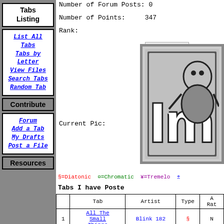Tabs Listing
List All Tabs
Tabs by Letter
View Files
Search Tabs
Random Tab
Contribute
Forum
Add a Tab
My Drafts
Post a File
Resources
Number of Forum Posts: 0
Number of Points:      347
Rank:
Current Pic:
§=Diatonic  ¤=Chromatic  ¥=Tremelo
Tabs I have Posted
|  | Tab | Artist | Type | Rat |
| --- | --- | --- | --- | --- |
| 1 | All The Small Things | Blink 182 | § | N |